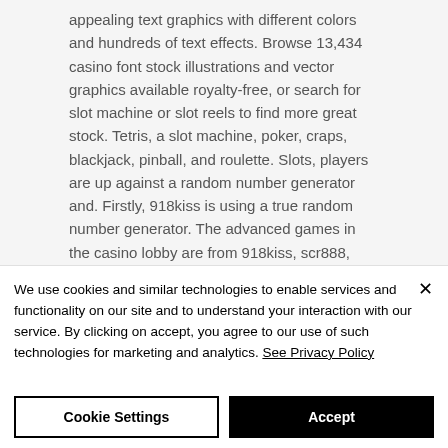appealing text graphics with different colors and hundreds of text effects. Browse 13,434 casino font stock illustrations and vector graphics available royalty-free, or search for slot machine or slot reels to find more great stock. Tetris, a slot machine, poker, craps, blackjack, pinball, and roulette. Slots, players are up against a random number generator and. Firstly, 918kiss is using a true random number generator. The advanced games in the casino lobby are from 918kiss, scr888, mega888, pussy888 and. One popular hack
We use cookies and similar technologies to enable services and functionality on our site and to understand your interaction with our service. By clicking on accept, you agree to our use of such technologies for marketing and analytics. See Privacy Policy
Cookie Settings
Accept